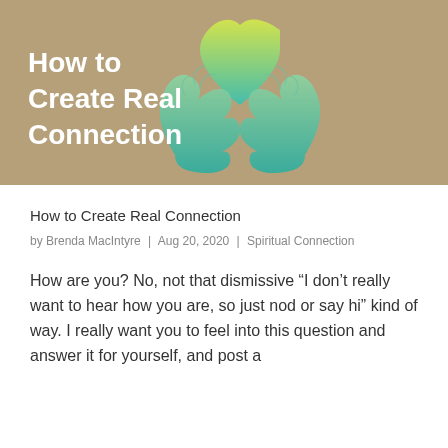[Figure (illustration): Blog post hero image with tan/brown background showing two teal/green hands cradling a heart shape that transitions from yellow-green at the top to teal at the bottom. White bold text on the left reads 'How to Create Real Connection'.]
How to Create Real Connection
by Brenda MacIntyre | Aug 20, 2020 | Spiritual Connection
How are you? No, not that dismissive “I don’t really want to hear how you are, so just nod or say hi” kind of way. I really want you to feel into this question and answer it for yourself, and post a